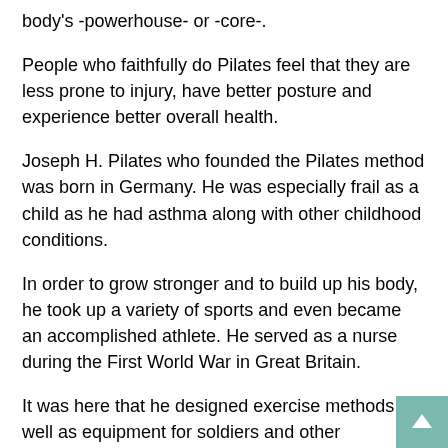body's -powerhouse- or -core-.
People who faithfully do Pilates feel that they are less prone to injury, have better posture and experience better overall health.
Joseph H. Pilates who founded the Pilates method was born in Germany. He was especially frail as a child as he had asthma along with other childhood conditions.
In order to grow stronger and to build up his body, he took up a variety of sports and even became an accomplished athlete. He served as a nurse during the First World War in Great Britain.
It was here that he designed exercise methods as well as equipment for soldiers and other immobilized patients.
Pilates also developed a series of exercises that used a mat which focused on the torso. These exercises were based